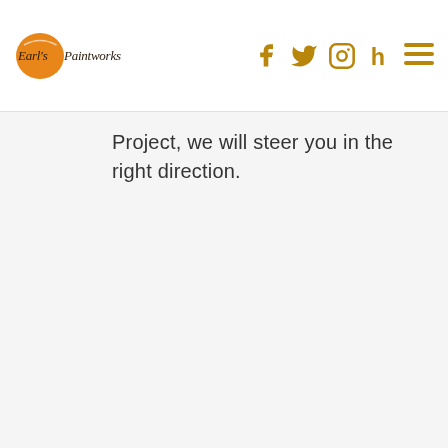Earl's Paintworks
Project, we will steer you in the right direction.